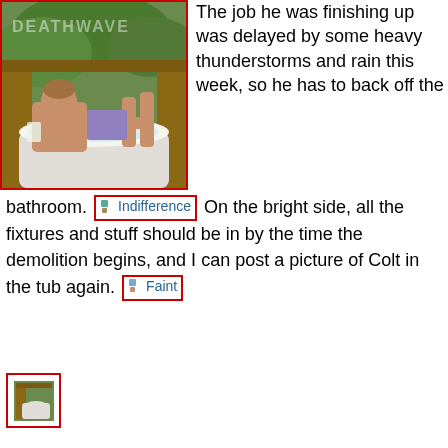[Figure (photo): Person relaxing in an outdoor bathtub surrounded by greenery, reading a magazine. Text overlay reads DEATHWAVE.]
The job he was finishing up was delayed by some heavy thunderstorms and rain this week, so he has to back off the bathroom. [Indifference] On the bright side, all the fixtures and stuff should be in by the time the demolition begins, and I can post a picture of Colt in the tub again. [Faint]
[Figure (photo): Small thumbnail image at bottom left.]